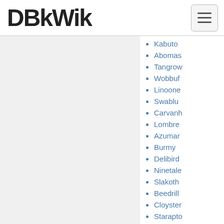DBkWik
Kabuto
Abomasnow
Tangrowth
Wobbuffet
Linoone
Swablu
Carvanha
Lombre
Azumarill
Burmy
Delibird
Ninetales
Slakoth
Beedrill
Cloyster
Staraptor
Dusknoir
Bellossom
Shiftry
Bidoof